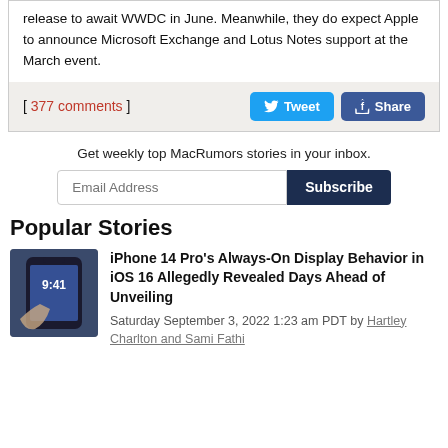release to await WWDC in June. Meanwhile, they do expect Apple to announce Microsoft Exchange and Lotus Notes support at the March event.
[ 377 comments ]
Get weekly top MacRumors stories in your inbox.
Popular Stories
iPhone 14 Pro's Always-On Display Behavior in iOS 16 Allegedly Revealed Days Ahead of Unveiling
Saturday September 3, 2022 1:23 am PDT by Hartley Charlton and Sami Fathi
[Figure (photo): iPhone 14 Pro device held in hand showing lock screen]